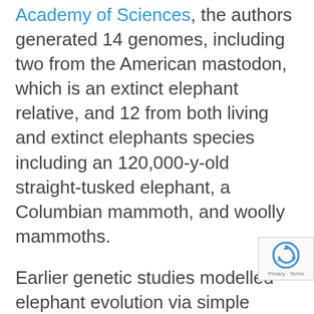Academy of Sciences, the authors generated 14 genomes, including two from the American mastodon, which is an extinct elephant relative, and 12 from both living and extinct elephants species including an 120,000-y-old straight-tusked elephant, a Columbian mammoth, and woolly mammoths.
Earlier genetic studies modelled elephant evolution via simple branching trees, but this study shows that interspecies hybridization has been a recurrent feature of elephant evolution.
“This paper, the product of a grand